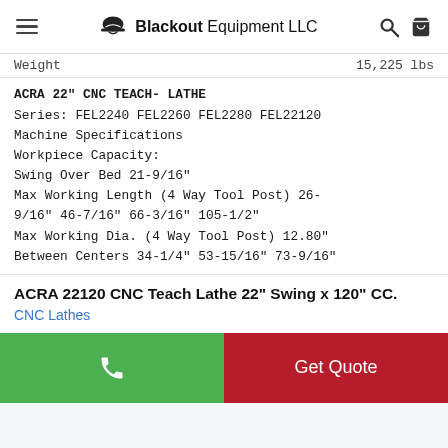Blackout Equipment LLC
Weight   15,225 lbs
ACRA 22" CNC TEACH- LATHE
Series: FEL2240 FEL2260 FEL2280 FEL22120
Machine Specifications
Workpiece Capacity:
Swing Over Bed 21-9/16"
Max Working Length (4 Way Tool Post) 26-9/16" 46-7/16" 66-3/16" 105-1/2"
Max Working Dia. (4 Way Tool Post) 12.80"
Between Centers 34-1/4" 53-15/16" 73-9/16"
ACRA 22120 CNC Teach Lathe 22" Swing x 120" CC.
CNC Lathes